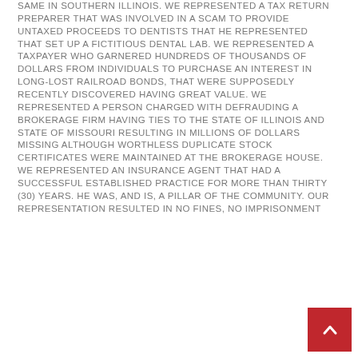SAME IN SOUTHERN ILLINOIS. WE REPRESENTED A TAX RETURN PREPARER THAT WAS INVOLVED IN A SCAM TO PROVIDE UNTAXED PROCEEDS TO DENTISTS THAT HE REPRESENTED THAT SET UP A FICTITIOUS DENTAL LAB. WE REPRESENTED A TAXPAYER WHO GARNERED HUNDREDS OF THOUSANDS OF DOLLARS FROM INDIVIDUALS TO PURCHASE AN INTEREST IN LONG-LOST RAILROAD BONDS, THAT WERE SUPPOSEDLY RECENTLY DISCOVERED HAVING GREAT VALUE. WE REPRESENTED A PERSON CHARGED WITH DEFRAUDING A BROKERAGE FIRM HAVING TIES TO THE STATE OF ILLINOIS AND STATE OF MISSOURI RESULTING IN MILLIONS OF DOLLARS MISSING ALTHOUGH WORTHLESS DUPLICATE STOCK CERTIFICATES WERE MAINTAINED AT THE BROKERAGE HOUSE. WE REPRESENTED AN INSURANCE AGENT THAT HAD A SUCCESSFUL ESTABLISHED PRACTICE FOR MORE THAN THIRTY (30) YEARS. HE WAS, AND IS, A PILLAR OF THE COMMUNITY. OUR REPRESENTATION RESULTED IN NO FINES, NO IMPRISONMENT